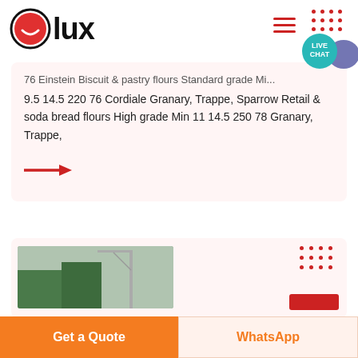[Figure (logo): Olux logo: red circle with white smile icon followed by bold text 'lux']
76 Einstein Biscuit & pastry flours Standard grade Min 9.5 14.5 220 76 Cordiale Granary, Trappe, Sparrow Retail & soda bread flours High grade Min 11 14.5 250 78 Granary, Trappe,
[Figure (illustration): Red arrow pointing right]
[Figure (photo): Outdoor scene with trees and construction crane]
Get a Quote
WhatsApp